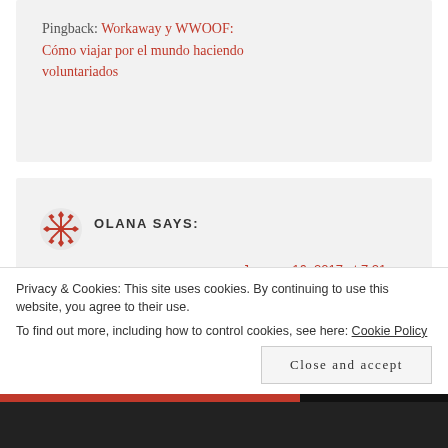Pingback: Workaway y WWOOF: Cómo viajar por el mundo haciendo voluntariados
[Figure (logo): Red decorative snowflake/star avatar icon for user Olana]
OLANA SAYS:
January 16, 2017 at 7:21 am
Hi Jill,
Privacy & Cookies: This site uses cookies. By continuing to use this website, you agree to their use. To find out more, including how to control cookies, see here: Cookie Policy
Close and accept